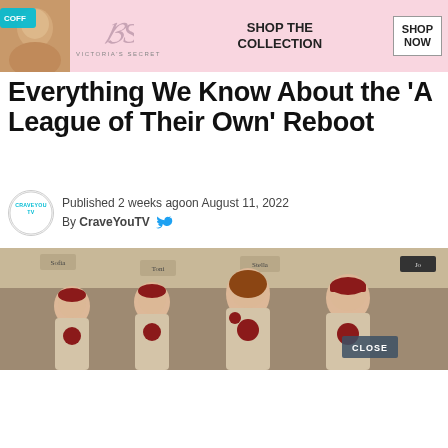[Figure (photo): Victoria's Secret advertisement banner at top of page with woman's face, VS logo, SHOP THE COLLECTION text, and SHOP NOW button]
Everything We Know About the 'A League of Their Own' Reboot
Published 2 weeks agoon August 11, 2022
By CraveYouTV
[Figure (photo): Main article image showing four women in baseball uniforms with red caps and red circle emblems on tan/beige dresses, standing in what appears to be a locker room. A CLOSE button appears in the lower right of the image.]
[Figure (photo): Victoria's Secret advertisement banner with woman's photo, VS logo, SHOP THE COLLECTION text, and SHOP NOW button]
[Figure (infographic): Social media share bar with Facebook (blue), Twitter (light blue), and Instagram (gradient) buttons showing their icons]